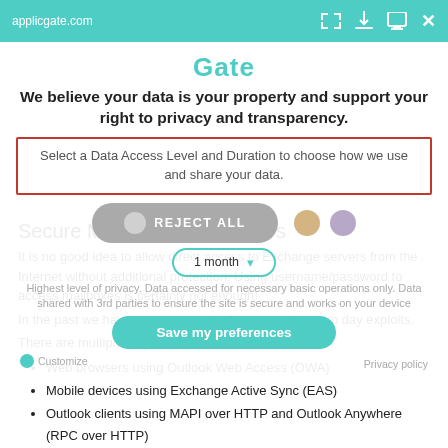applicgate.com
Gate
We believe your data is your property and support your right to privacy and transparency.
Select a Data Access Level and Duration to choose how we use and share your data.
Secure MS Exchange Servers
It is no good idea to allow direct access to Exchange servers from the Internet without additional protection. Using username/password to access mailboxes is certainly not enough!
In the past we have seen many attacks even using zero day exploits.
Highest level of privacy. Data accessed for necessary basic operations only. Data shared with 3rd parties to ensure the site is secure and works on your device
There are multiple ways to access mailboxes:
Web browsers using Outlook Web Access (OWA)
Mobile devices using Exchange Active Sync (EAS)
Outlook clients using MAPI over HTTP and Outlook Anywhere (RPC over HTTP)